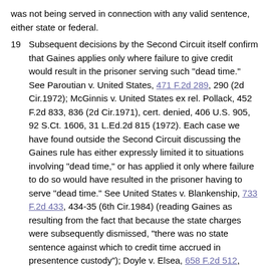was not being served in connection with any valid sentence, either state or federal.
19  Subsequent decisions by the Second Circuit itself confirm that Gaines applies only where failure to give credit would result in the prisoner serving such "dead time." See Paroutian v. United States, 471 F.2d 289, 290 (2d Cir.1972); McGinnis v. United States ex rel. Pollack, 452 F.2d 833, 836 (2d Cir.1971), cert. denied, 406 U.S. 905, 92 S.Ct. 1606, 31 L.Ed.2d 815 (1972). Each case we have found outside the Second Circuit discussing the Gaines rule has either expressly limited it to situations involving "dead time," or has applied it only where failure to do so would have resulted in the prisoner having to serve "dead time." See United States v. Blankenship, 733 F.2d 433, 434-35 (6th Cir.1984) (reading Gaines as resulting from the fact that because the state charges were subsequently dismissed, "there was no state sentence against which to credit time accrued in presentence custody"); Doyle v. Elsea, 658 F.2d 512, 515, 518-19 & n. 7 (7th Cir.1981) (per curiam) (even if state charges are subsequently dismissed, Gaines does not entitle petitioner to credit on his detainer-related sentence where his time spent in state custody has already been credited to a second federal sentence imposed for a crime committed while he was on parole from his